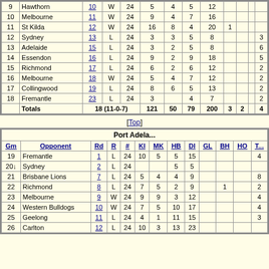| Gm | Opponent | Rd | R | # | KI | MK | HB | DI | GL | BH | HO | T... |
| --- | --- | --- | --- | --- | --- | --- | --- | --- | --- | --- | --- | --- |
| 9 | Hawthorn | 10 | W | 24 | 5 | 4 | 5 | 12 |  |  |  |  |
| 10 | Melbourne | 11 | W | 24 | 9 | 4 | 7 | 16 |  |  |  |  |
| 11 | St Kilda | 12 | W | 24 | 16 | 8 | 4 | 20 | 1 |  |  |  |
| 12 | Sydney | 13 | L | 24 | 3 | 3 | 5 | 8 |  |  |  | 3 |
| 13 | Adelaide | 15 | L | 24 | 3 | 2 | 5 | 8 |  |  |  | 6 |
| 14 | Essendon | 16 | L | 24 | 9 | 2 | 9 | 18 |  |  |  | 5 |
| 15 | Richmond | 17 | L | 24 | 6 | 2 | 6 | 12 |  |  |  | 2 |
| 16 | Melbourne | 18 | W | 24 | 5 | 4 | 7 | 12 |  |  |  | 2 |
| 17 | Collingwood | 19 | L | 24 | 8 | 6 | 5 | 13 |  |  |  | 2 |
| 18 | Fremantle | 23 | L | 24 | 3 |  | 4 | 7 |  |  |  | 2 |
|  | Totals | 18 (11-0-7) |  |  | 121 | 50 | 79 | 200 | 3 | 2 |  | 4 |
[Top]
| Gm | Opponent | Rd | R | # | KI | MK | HB | DI | GL | BH | HO | T... |
| --- | --- | --- | --- | --- | --- | --- | --- | --- | --- | --- | --- | --- |
| 19 | Fremantle | 1 | L | 24 | 10 | 5 | 5 | 15 |  |  |  | 4 |
| 20↓ | Sydney | 2 | L | 24 |  |  | 5 | 5 |  |  |  |  |
| 21 | Brisbane Lions | 7 | L | 24 | 5 | 4 | 4 | 9 |  |  |  | 8 |
| 22 | Richmond | 8 | L | 24 | 7 | 5 | 2 | 9 |  | 1 |  | 2 |
| 23 | Melbourne | 9 | W | 24 | 9 | 9 | 3 | 12 |  |  |  | 4 |
| 24 | Western Bulldogs | 10 | W | 24 | 7 | 5 | 10 | 17 |  |  |  | 4 |
| 25 | Geelong | 11 | L | 24 | 4 | 1 | 11 | 15 |  |  |  | 3 |
| 26 | Carlton | 12 | L | 24 | 10 | 3 | 13 | 23 |  |  |  |  |